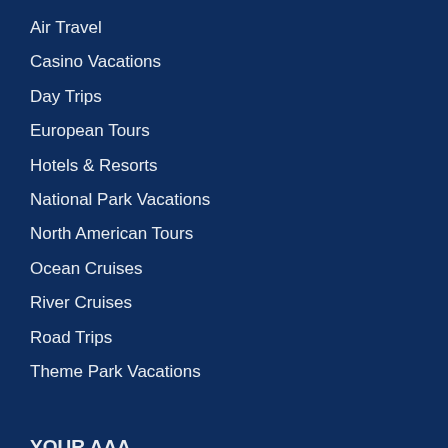Air Travel
Casino Vacations
Day Trips
European Tours
Hotels & Resorts
National Park Vacations
North American Tours
Ocean Cruises
River Cruises
Road Trips
Theme Park Vacations
YOUR AAA